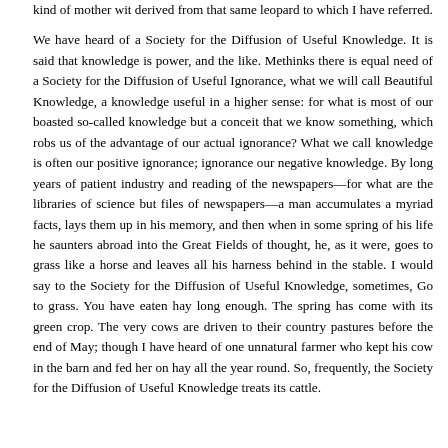kind of mother wit derived from that same leopard to which I have referred.

We have heard of a Society for the Diffusion of Useful Knowledge. It is said that knowledge is power, and the like. Methinks there is equal need of a Society for the Diffusion of Useful Ignorance, what we will call Beautiful Knowledge, a knowledge useful in a higher sense: for what is most of our boasted so-called knowledge but a conceit that we know something, which robs us of the advantage of our actual ignorance? What we call knowledge is often our positive ignorance; ignorance our negative knowledge. By long years of patient industry and reading of the newspapers—for what are the libraries of science but files of newspapers—a man accumulates a myriad facts, lays them up in his memory, and then when in some spring of his life he saunters abroad into the Great Fields of thought, he, as it were, goes to grass like a horse and leaves all his harness behind in the stable. I would say to the Society for the Diffusion of Useful Knowledge, sometimes, Go to grass. You have eaten hay long enough. The spring has come with its green crop. The very cows are driven to their country pastures before the end of May; though I have heard of one unnatural farmer who kept his cow in the barn and fed her on hay all the year round. So, frequently, the Society for the Diffusion of Useful Knowledge treats its cattle.